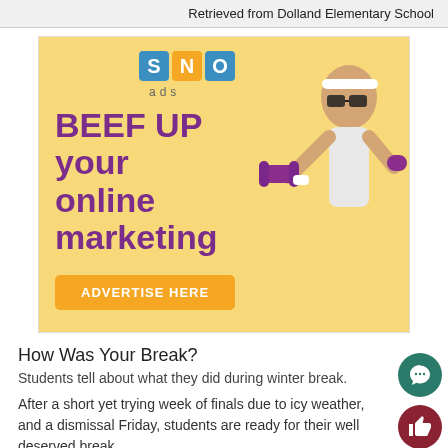Retrieved from Dolland Elementary School
[Figure (infographic): SNO ads advertisement: 'BEEF UP your online marketing' with ADVERTISE HERE button, showing a person lifting purple dumbbells on a yellow background.]
How Was Your Break?
Students tell about what they did during winter break.
After a short yet trying week of finals due to icy weather, and a dismissal Friday, students are ready for their well deserved break.